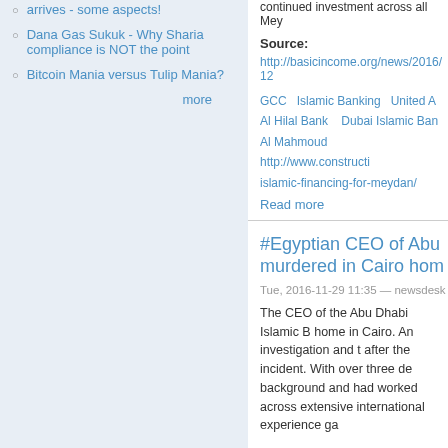arrives - some aspects!
Dana Gas Sukuk - Why Sharia compliance is NOT the point
Bitcoin Mania versus Tulip Mania?
more
continued investment across all Mey
Source:
http://basicincome.org/news/2016/12
GCC   Islamic Banking   United A   Al Hilal Bank   Dubai Islamic Ban   Al Mahmoud   http://www.constructi   islamic-financing-for-meydan/
Read more
#Egyptian CEO of Abu murdered in Cairo hom
Tue, 2016-11-29 11:35 — newsdesk
The CEO of the Abu Dhabi Islamic B home in Cairo. An investigation and t after the incident. With over three de background and had worked across extensive international experience ga